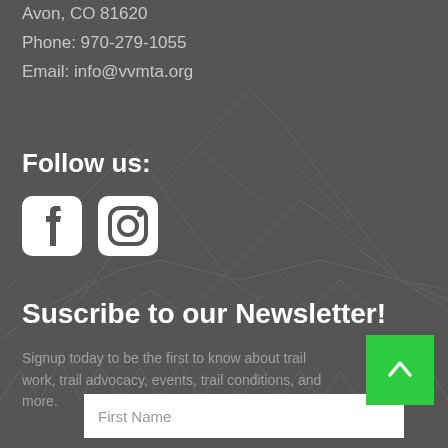Avon, CO 81620
Phone: 970-279-1055
Email: info@vvmta.org
Follow us:
[Figure (illustration): Facebook and Instagram social media icons in white on dark background]
Suscribe to our Newsletter!
Signup today to be the first to know about trail work, trail advocacy, events, trail conditions, and more.
[Figure (other): Green scroll-to-top button with upward arrow]
First Name